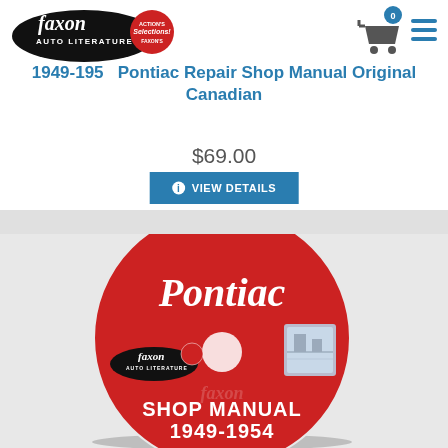[Figure (logo): Faxon Auto Literature logo with circular badge]
[Figure (other): Shopping cart icon with badge showing 0, and hamburger menu icon]
1949-1954 Pontiac Repair Shop Manual Original Canadian
$69.00
VIEW DETAILS
[Figure (photo): Red CD disc labeled PONTIAC SHOP MANUAL 1949-1954 with Faxon Auto Literature branding and a small inset image of a workshop scene]